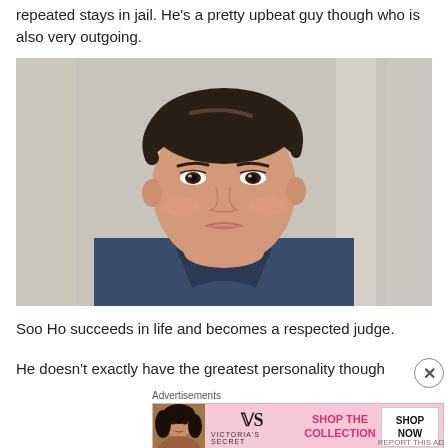repeated stays in jail. He's a pretty upbeat guy though who is also very outgoing.
[Figure (photo): A young Asian man with short dark hair wearing a dark blue collared shirt, looking directly at the camera with a neutral expression, against a blurred light gray background.]
Soo Ho succeeds in life and becomes a respected judge.
He doesn't exactly have the greatest personality though
Advertisements
[Figure (infographic): Victoria's Secret advertisement banner with pink background showing a woman's face on the left, Victoria's Secret logo in the center, 'SHOP THE COLLECTION' text, and a 'SHOP NOW' button on the right.]